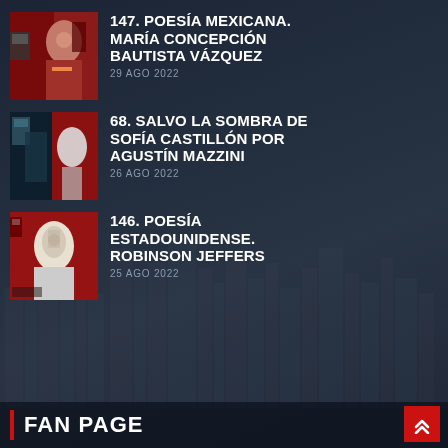[Figure (illustration): Thumbnail image for entry 147: red-toned collage with woman's face]
147. POESÍA MEXICANA. MARÍA CONCEPCIÓN BAUTISTA VÁZQUEZ
29 AGO 2022
[Figure (illustration): Thumbnail image for entry 68: dark teal and red collage with figures]
68. SALVO LA SOMBRA DE SOFÍA CASTILLÓN POR AGUSTÍN MAZZINI
26 AGO 2022
[Figure (illustration): Thumbnail image for entry 146: black and white portrait on red background]
146. POESÍA ESTADOUNIDENSE. ROBINSON JEFFERS
25 AGO 2022
FAN PAGE